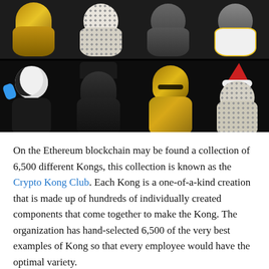[Figure (illustration): A collage of 3D gorilla NFT characters on a dark background. Top row shows four gorillas: gold-colored, spotted/white, dark gray, and one wearing a white shirt with yellow accents. Bottom row shows four larger gorillas: a panda-masked figure with a toy, a dark gorilla in a black cap, a gold gorilla in a gold jacket with sunglasses, and a spotted gorilla wearing a red Santa hat.]
On the Ethereum blockchain may be found a collection of 6,500 different Kongs, this collection is known as the Crypto Kong Club. Each Kong is a one-of-a-kind creation that is made up of hundreds of individually created components that come together to make the Kong. The organization has hand-selected 6,500 of the very best examples of Kong so that every employee would have the optimal variety.
The owner of a Kong is granted access to the